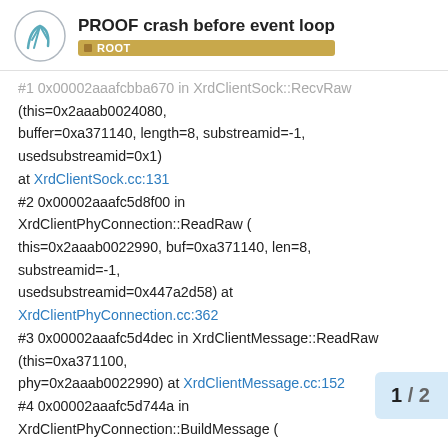PROOF crash before event loop / ROOT
#1 0x00002aaafcbba670 in XrdClientSock::RecvRaw (this=0x2aaab0024080, buffer=0xa371140, length=8, substreamid=-1, usedsubstreamid=0x1) at XrdClientSock.cc:131 #2 0x00002aaafc5d8f00 in XrdClientPhyConnection::ReadRaw (this=0x2aaab0022990, buf=0xa371140, len=8, substreamid=-1, usedsubstreamid=0x447a2d58) at XrdClientPhyConnection.cc:362 #3 0x00002aaafc5d4dec in XrdClientMessage::ReadRaw (this=0xa371100, phy=0x2aaab0022990) at XrdClientMessage.cc:152 #4 0x00002aaafc5d744a in XrdClientPhyConnection::BuildMessage (this=0x2aaab0022990, IgnoreTimeouts=true, Enqueue=true) at XrdClientPhyConnection.cc:443